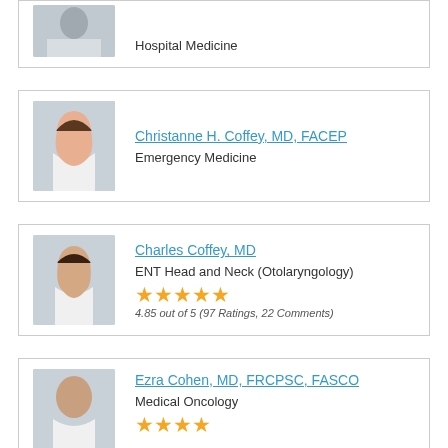[Figure (photo): Partial photo of a male doctor in white coat, cropped at top]
Hospital Medicine
[Figure (photo): Photo of Christanne H. Coffey, MD, a female doctor in white coat, smiling]
Christanne H. Coffey, MD, FACEP
Emergency Medicine
[Figure (photo): Photo of Charles Coffey, MD, a male doctor in white coat, smiling]
Charles Coffey, MD
ENT Head and Neck (Otolaryngology)
4.85 out of 5 (97 Ratings, 22 Comments)
[Figure (photo): Photo of Ezra Cohen, MD, a bald male doctor, partially cropped at bottom]
Ezra Cohen, MD, FRCPSC, FASCO
Medical Oncology